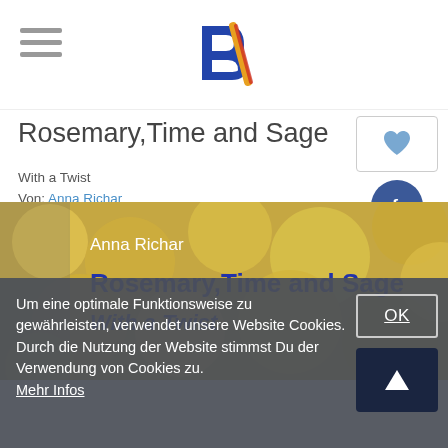Bx logo and hamburger menu
Rosemary,Time and Sage
With a Twist
Von: Anna Richar
[Figure (photo): Book cover of Rosemary, Time and Sage With a Twist by Anna Richar, showing lemons in the background with the title and author name overlaid in white and blue text]
Um eine optimale Funktionsweise zu gewährleisten, verwendet unsere Website Cookies. Durch die Nutzung der Website stimmst Du der Verwendung von Cookies zu. Mehr Infos